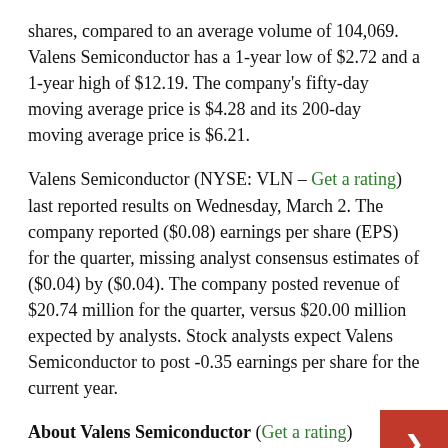shares, compared to an average volume of 104,069. Valens Semiconductor has a 1-year low of $2.72 and a 1-year high of $12.19. The company's fifty-day moving average price is $4.28 and its 200-day moving average price is $6.21.
Valens Semiconductor (NYSE: VLN – Get a rating) last reported results on Wednesday, March 2. The company reported ($0.08) earnings per share (EPS) for the quarter, missing analyst consensus estimates of ($0.04) by ($0.04). The company posted revenue of $20.74 million for the quarter, versus $20.00 million expected by analysts. Stock analysts expect Valens Semiconductor to post -0.35 earnings per share for the current year.
About Valens Semiconductor (Get a rating)
Valens Semiconductor Ltd. engages in the supply of